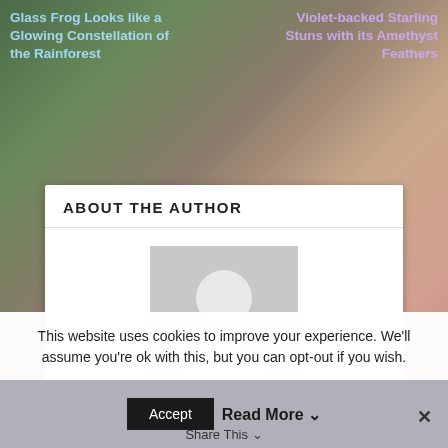Glass Frog Looks like a Glowing Constellation of the Rainforest | Violet-backed Starling Stuns with its Amethyst Feathers
ABOUT THE AUTHOR
[Figure (illustration): Gray placeholder avatar image showing a generic person silhouette]
Carly Brooke
Carly Brooke is the animal-obsessed founder and author of the award-winning animal website, The Featured Creature.com, where little-known
This website uses cookies to improve your experience. We'll assume you're ok with this, but you can opt-out if you wish.
Accept  Read More  Share This  ✕